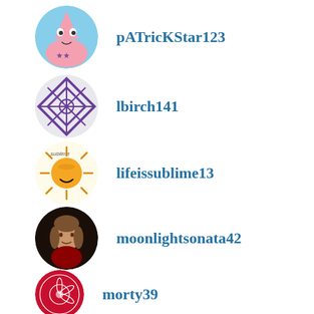pATricKStar123
lbirch141
lifeissublime13
moonlightsonata42
morty39
myrtleview